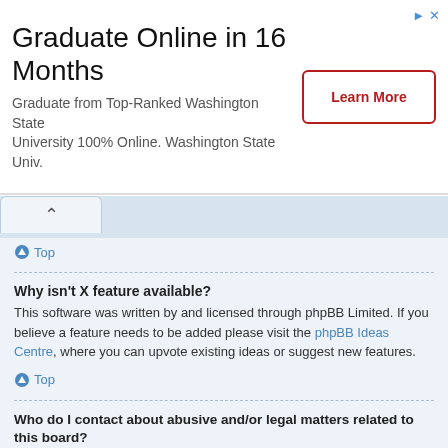[Figure (other): Advertisement banner: 'Graduate Online in 16 Months' with 'Learn More' button and Washington State University branding]
Top
Why isn't X feature available?
This software was written by and licensed through phpBB Limited. If you believe a feature needs to be added please visit the phpBB Ideas Centre, where you can upvote existing ideas or suggest new features.
Top
Who do I contact about abusive and/or legal matters related to this board?
Any of the administrators listed on the “The team” page should be an appropriate point of contact for your complaints. If this still gets no response then you should contact the owner of the domain (do a whois lookup) or, if this is running on a free service (e.g. Yahoo!, free.fr, f2s.com, etc.), the management or abuse department of that service. Please note that the phpBB Limited has absolutely no jurisdiction and cannot in any way be held liable over how, where or by whom this board is used. Do not contact the phpBB Limited in relation to any legal (cease and desist, liable, defamatory comment, etc.) matter not directly related to the phpBB.com website or the discrete software of